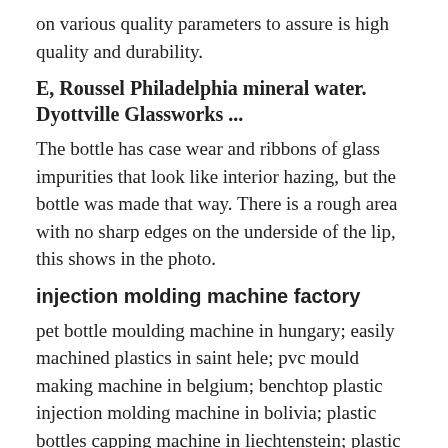on various quality parameters to assure is high quality and durability.
E, Roussel Philadelphia mineral water. Dyottville Glassworks ...
The bottle has case wear and ribbons of glass impurities that look like interior hazing, but the bottle was made that way. There is a rough area with no sharp edges on the underside of the lip, this shows in the photo.
injection molding machine factory
pet bottle moulding machine in hungary; easily machined plastics in saint hele; pvc mould making machine in belgium; benchtop plastic injection molding machine in bolivia; plastic bottles capping machine in liechtenstein; plastic injection molding materials in czech; plastic bottle mould in iceland; disposable plastic products making machine in ...